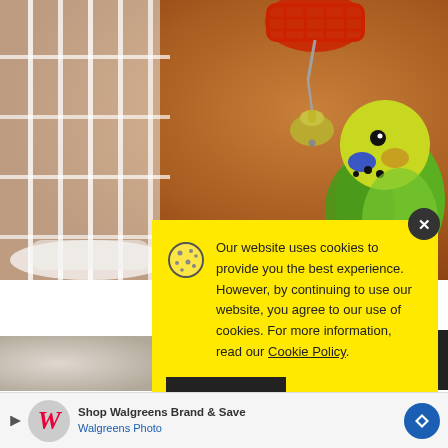[Figure (photo): A green and yellow budgerigar (parakeet) inside a white wire cage, with a small silver bell hanging from a red plastic toy feeder. The background is a warm brown blur.]
Our website uses cookies to provide you the best experience. However, by continuing to use our website, you agree to our use of cookies. For more information, read our Cookie Policy.
Accept
[Figure (photo): Partial blurred photo visible below the cookie banner on the left side.]
Shop Walgreens Brand & Save
Walgreens Photo